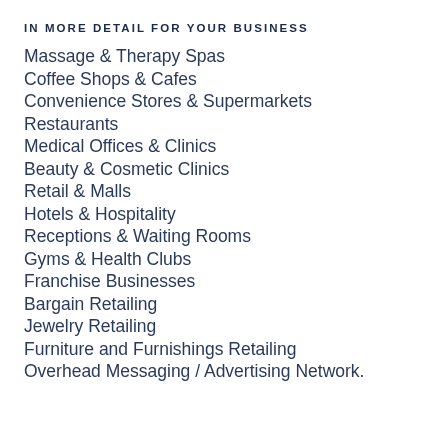IN MORE DETAIL FOR YOUR BUSINESS
Massage & Therapy Spas
Coffee Shops & Cafes
Convenience Stores & Supermarkets
Restaurants
Medical Offices & Clinics
Beauty & Cosmetic Clinics
Retail & Malls
Hotels & Hospitality
Receptions & Waiting Rooms
Gyms & Health Clubs
Franchise Businesses
Bargain Retailing
Jewelry Retailing
Furniture and Furnishings Retailing
Overhead Messaging / Advertising Network.